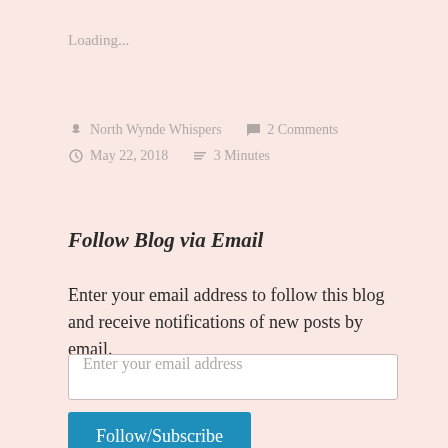Loading...
North Wynde Whispers   2 Comments   May 22, 2018   3 Minutes
Follow Blog via Email
Enter your email address to follow this blog and receive notifications of new posts by email.
Enter your email address
Follow/Subscribe